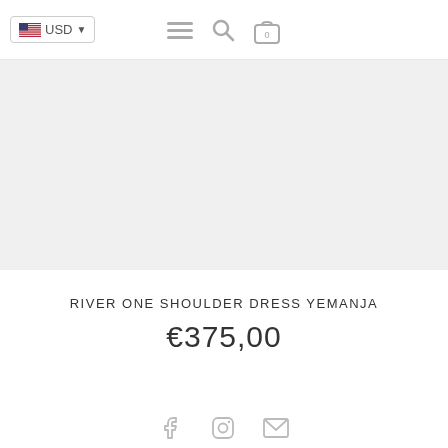USD
[Figure (screenshot): Gray placeholder image area for product photo]
RIVER ONE SHOULDER DRESS YEMANJA
€375,00
[Figure (other): Social media icons: Facebook, Instagram, Email]